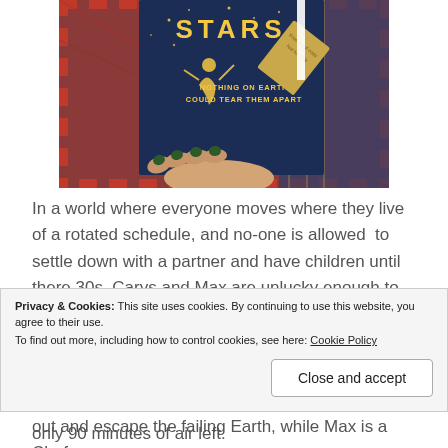[Figure (photo): Hand holding a book with a dark blue cover showing 'STARS - NOTHING ON EARTH COULD TEAR THEM APART' with a proof copy tag in the corner, against a patterned background.]
In a world where everyone moves where they live of a rotated schedule, and no-one is allowed to settle down with a partner and have children until there 30s, Carys and Max are unlucky enough to fall in love. With the difficulties of getting into outta space being a modern main problem, Carys is a pilot trying to find ways to get out and escape the failing Earth, while Max is a Chef
Privacy & Cookies: This site uses cookies. By continuing to use this website, you agree to their use.
To find out more, including how to control cookies, see here: Cookie Policy
only 90 minutes of air left.